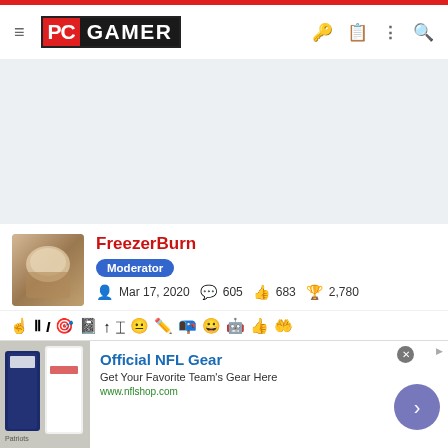[Figure (screenshot): PC Gamer website navigation header with hamburger menu, PC GAMER logo, and icons for key, clipboard, more options, and search]
[Figure (other): Light gray advertisement placeholder area]
FreezerBurn
Moderator
Mar 17, 2020  605  683  2,780
[Figure (other): Toolbar row with various formatting and action icons]
[Figure (other): Official NFL Gear advertisement banner with image of jerseys, title, subtitle, and URL]